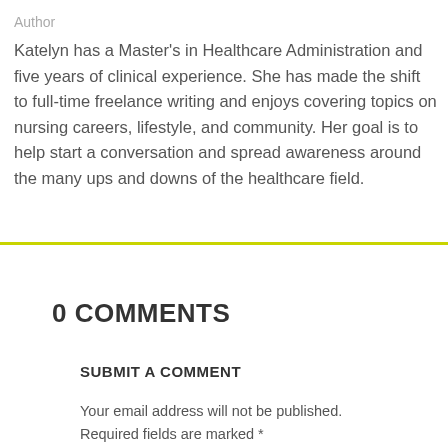Author
Katelyn has a Master's in Healthcare Administration and five years of clinical experience. She has made the shift to full-time freelance writing and enjoys covering topics on nursing careers, lifestyle, and community. Her goal is to help start a conversation and spread awareness around the many ups and downs of the healthcare field.
0 COMMENTS
SUBMIT A COMMENT
Your email address will not be published. Required fields are marked *